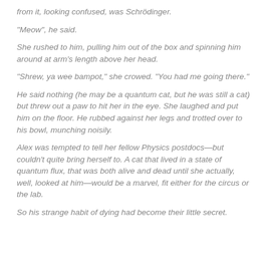from it, looking confused, was Schrödinger.
"Meow", he said.
She rushed to him, pulling him out of the box and spinning him around at arm's length above her head.
"Shrew, ya wee bampot," she crowed. "You had me going there."
He said nothing (he may be a quantum cat, but he was still a cat) but threw out a paw to hit her in the eye. She laughed and put him on the floor. He rubbed against her legs and trotted over to his bowl, munching noisily.
Alex was tempted to tell her fellow Physics postdocs—but couldn't quite bring herself to. A cat that lived in a state of quantum flux, that was both alive and dead until she actually, well, looked at him—would be a marvel, fit either for the circus or the lab.
So his strange habit of dying had become their little secret.